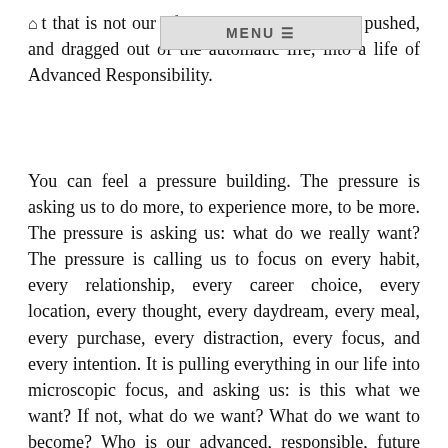but that is not our life. We are being ordered, pushed, and dragged out of the automatic life, into a life of Advanced Responsibility.
You can feel a pressure building. The pressure is asking us to do more, to experience more, to be more. The pressure is asking us: what do we really want? The pressure is calling us to focus on every habit, every relationship, every career choice, every location, every thought, every daydream, every meal, every purchase, every distraction, every focus, and every intention. It is pulling everything in our life into microscopic focus, and asking us: is this what we want? If not, what do we want? What do we want to become? Who is our advanced, responsible, future selves? What does that person look like? What is that person doing, from day to day, hour to hour, minute to minute?